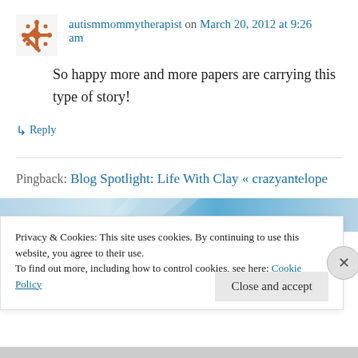autismmommytherapist on March 20, 2012 at 9:26 am
So happy more and more papers are carrying this type of story!
↳ Reply
Pingback: Blog Spotlight: Life With Clay « crazyantelope
[Figure (screenshot): Partial image strip with blue gradient/banner]
Privacy & Cookies: This site uses cookies. By continuing to use this website, you agree to their use. To find out more, including how to control cookies, see here: Cookie Policy
Close and accept